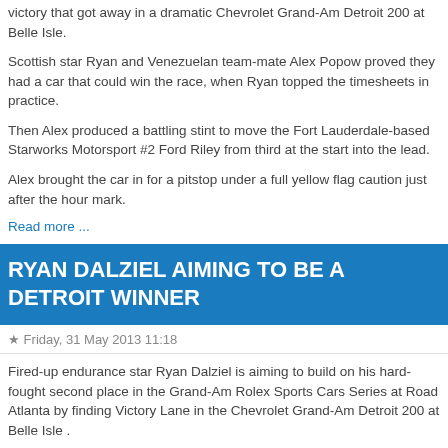victory that got away in a dramatic Chevrolet Grand-Am Detroit 200 at Belle Isle.
Scottish star Ryan and Venezuelan team-mate Alex Popow proved they had a car that could win the race, when Ryan topped the timesheets in practice.
Then Alex produced a battling stint to move the Fort Lauderdale-based Starworks Motorsport #2 Ford Riley from third at the start into the lead.
Alex brought the car in for a pitstop under a full yellow flag caution just after the hour mark.
Read more ...
RYAN DALZIEL AIMING TO BE A DETROIT WINNER
★ Friday, 31 May 2013 11:18
Fired-up endurance star Ryan Dalziel is aiming to build on his hard-fought second place in the Grand-Am Rolex Sports Cars Series at Road Atlanta by finding Victory Lane in the Chevrolet Grand-Am Detroit 200 at Belle Isle .
The proud Scot was in determined mood as he left his home